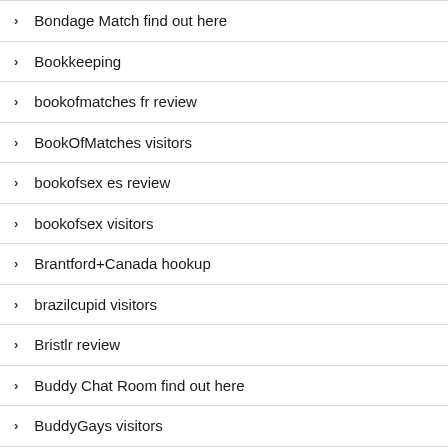Bondage Match find out here
Bookkeeping
bookofmatches fr review
BookOfMatches visitors
bookofsex es review
bookofsex visitors
Brantford+Canada hookup
brazilcupid visitors
Bristlr review
Buddy Chat Room find out here
BuddyGays visitors